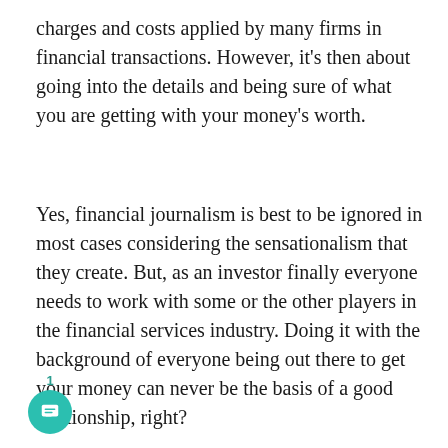charges and costs applied by many firms in financial transactions. However, it's then about going into the details and being sure of what you are getting with your money's worth.
Yes, financial journalism is best to be ignored in most cases considering the sensationalism that they create. But, as an investor finally everyone needs to work with some or the other players in the financial services industry. Doing it with the background of everyone being out there to get your money can never be the basis of a good relationship, right?